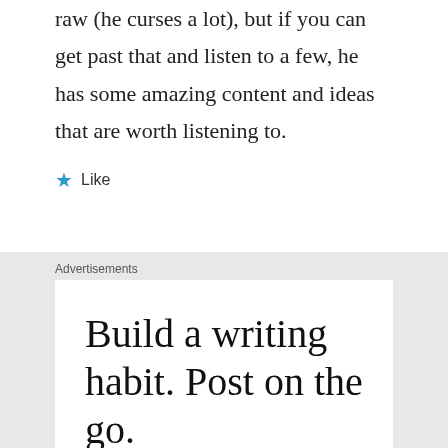raw (he curses a lot), but if you can get past that and listen to a few, he has some amazing content and ideas that are worth listening to.
★ Like
Advertisements
[Figure (screenshot): WordPress advertisement: 'Build a writing habit. Post on the go.' with a GET THE APP call-to-action and WordPress logo]
Build a writing habit. Post on the go.
GET THE APP